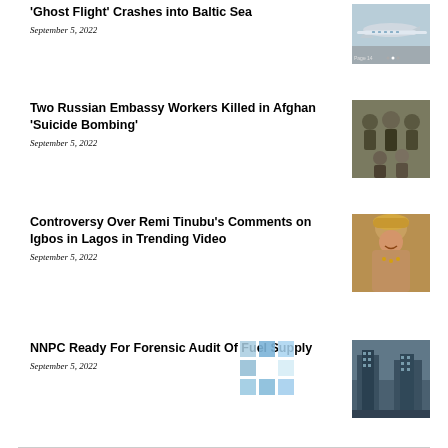'Ghost Flight' Crashes into Baltic Sea
September 5, 2022
[Figure (photo): Airplane photo]
Two Russian Embassy Workers Killed in Afghan 'Suicide Bombing'
September 5, 2022
[Figure (photo): Group of men seated]
Controversy Over Remi Tinubu's Comments on Igbos in Lagos in Trending Video
September 5, 2022
[Figure (photo): Woman in golden headwrap smiling]
NNPC Ready For Forensic Audit Of Fuel Supply
September 5, 2022
[Figure (photo): City building/skyscraper]
[Figure (logo): Checkered logo grid overlay]